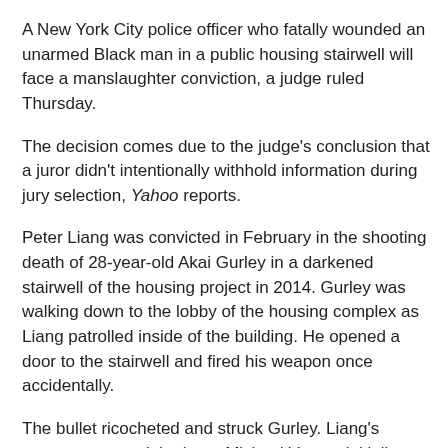A New York City police officer who fatally wounded an unarmed Black man in a public housing stairwell will face a manslaughter conviction, a judge ruled Thursday.
The decision comes due to the judge's conclusion that a juror didn't intentionally withhold information during jury selection, Yahoo reports.
Peter Liang was convicted in February in the shooting death of 28-year-old Akai Gurley in a darkened stairwell of the housing project in 2014. Gurley was walking down to the lobby of the housing complex as Liang patrolled inside of the building. He opened a door to the stairwell and fired his weapon once accidentally.
The bullet ricocheted and struck Gurley. Liang's attorneys argued the juror, Michael Vargas initially said no one in his family had been accused of a crime. But Vargas told a local newspaper that his father was sent to prison for accidentally